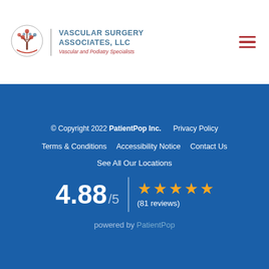[Figure (logo): Vascular Surgery Associates LLC logo with tree illustration in circle]
VASCULAR SURGERY ASSOCIATES, LLC
Vascular and Podiatry Specialists
© Copyright 2022 PatientPop Inc.     Privacy Policy
Terms & Conditions     Accessibility Notice     Contact Us
See All Our Locations
4.88 / 5  |  ★★★★★  (81 reviews)
powered by PatientPop